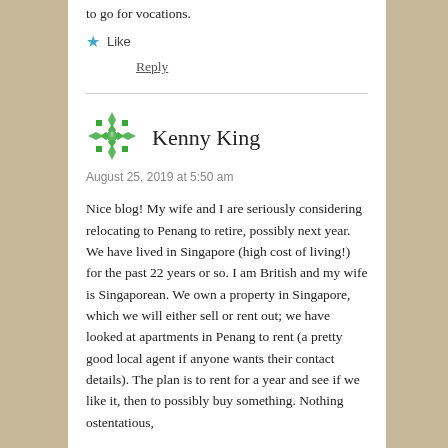to go for vocations.
Like
Reply
Kenny King
August 25, 2019 at 5:50 am
Nice blog! My wife and I are seriously considering relocating to Penang to retire, possibly next year. We have lived in Singapore (high cost of living!) for the past 22 years or so. I am British and my wife is Singaporean. We own a property in Singapore, which we will either sell or rent out; we have looked at apartments in Penang to rent (a pretty good local agent if anyone wants their contact details). The plan is to rent for a year and see if we like it, then to possibly buy something. Nothing ostentatious,